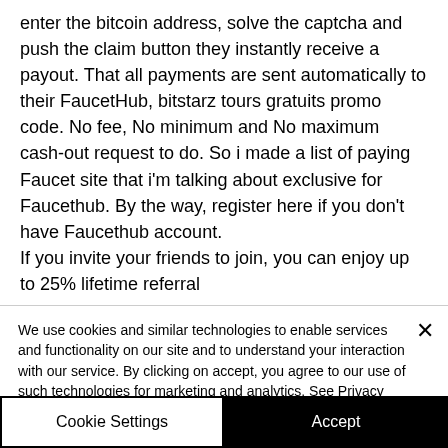enter the bitcoin address, solve the captcha and push the claim button they instantly receive a payout. That all payments are sent automatically to their FaucetHub, bitstarz tours gratuits promo code. No fee, No minimum and No maximum cash-out request to do. So i made a list of paying Faucet site that i'm talking about exclusive for Faucethub. By the way, register here if you don't have Faucethub account.
If you invite your friends to join, you can enjoy up to 25% lifetime referral
We use cookies and similar technologies to enable services and functionality on our site and to understand your interaction with our service. By clicking on accept, you agree to our use of such technologies for marketing and analytics. See Privacy Policy
Cookie Settings
Accept